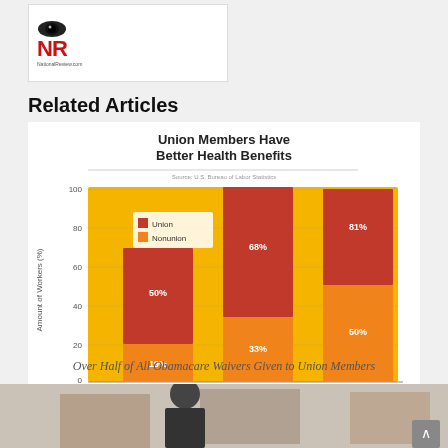[Figure (logo): NR (NationallReview or similar) logo with eye icon, red letters NR, small tagline below]
Related Articles
[Figure (stacked-bar-chart): Union Members Have Better Health Benefits]
Over Half of All Obamacare Waivers Given to Union Members
[Figure (photo): Photo of a man in suit at a formal room with chandeliers and a painting]